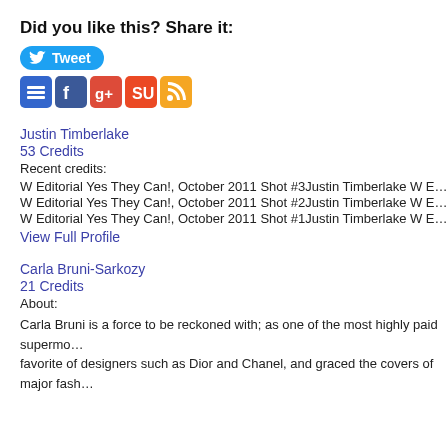Did you like this? Share it:
[Figure (screenshot): Tweet button with Twitter bird icon]
[Figure (screenshot): Social sharing icons: Delicious, MySpace, Google+, StumbleUpon, RSS]
Justin Timberlake
53 Credits
Recent credits:
W Editorial Yes They Can!, October 2011 Shot #3Justin Timberlake W Editorial Shot #3
W Editorial Yes They Can!, October 2011 Shot #2Justin Timberlake W Editorial Shot #2
W Editorial Yes They Can!, October 2011 Shot #1Justin Timberlake W Editorial Shot #1
View Full Profile
Carla Bruni-Sarkozy
21 Credits
About:
Carla Bruni is a force to be reckoned with; as one of the most highly paid supermo… favorite of designers such as Dior and Chanel, and graced the covers of major fash…